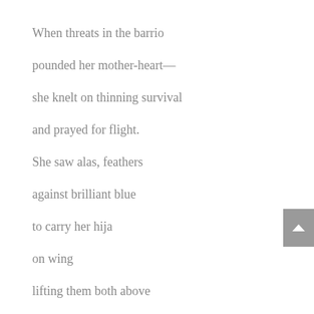When threats in the barrio
pounded her mother-heart—
she knelt on thinning survival
and prayed for flight.
She saw alas, feathers
against brilliant blue
to carry her hija
on wing
lifting them both above